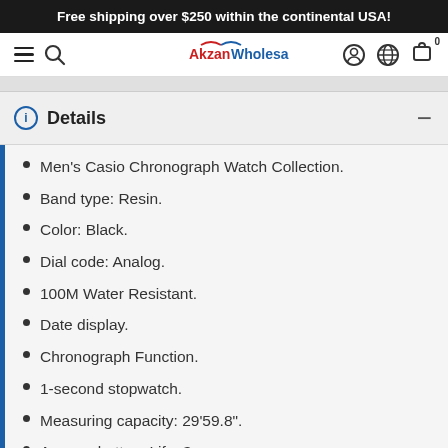Free shipping over $250 within the continental USA!
[Figure (logo): AkzanWholesale.com website navigation bar with hamburger menu, search icon, logo, account icon, globe icon, and shopping cart icon with badge 0]
Details
Men's Casio Chronograph Watch Collection.
Band type: Resin.
Color: Black.
Dial code: Analog.
100M Water Resistant.
Date display.
Chronograph Function.
1-second stopwatch.
Measuring capacity: 29'59.8".
Approx. battery Life: 3 years.